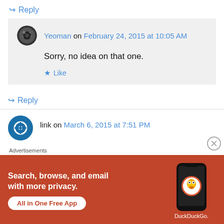↪ Reply
Yeoman on February 24, 2015 at 10:05 AM
Sorry, no idea on that one.
★ Like
↪ Reply
link on March 6, 2015 at 7:51 PM
Advertisements
[Figure (screenshot): DuckDuckGo advertisement banner: 'Search, browse, and email with more privacy. All in One Free App' with DuckDuckGo logo and phone image on orange/red background.]